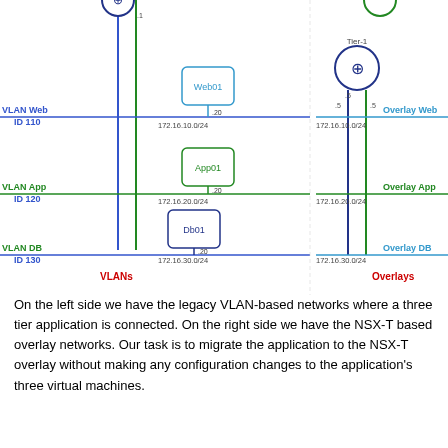[Figure (network-graph): Network diagram showing VLANs on left (Web ID 110, App ID 120, DB ID 130) with three VMs (Web01 .20, App01 .20, Db01 .20) connected via vertical lines, and NSX-T Overlay networks on right (Overlay Web, Overlay App, Overlay DB) with a Tier-1 router. Subnet labels 172.16.10.0/24, 172.16.20.0/24, 172.16.30.0/24 shown on both sides.]
On the left side we have the legacy VLAN-based networks where a three tier application is connected. On the right side we have the NSX-T based overlay networks. Our task is to migrate the application to the NSX-T overlay without making any configuration changes to the application's three virtual machines.